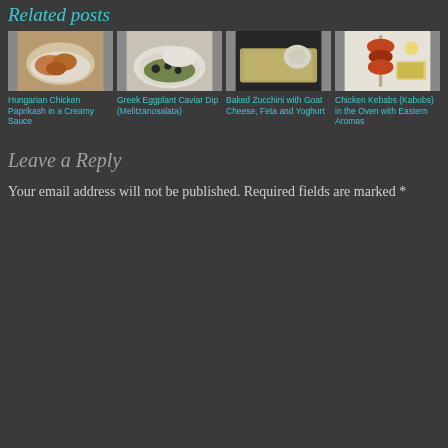Related posts
[Figure (photo): Photo of Hungarian Chicken Paprikash in a Creamy Sauce on rice]
Hungarian Chicken Paprikash in a Creamy Sauce
[Figure (photo): Photo of Greek Eggplant Caviar Dip (Melitzanosalata) in a bowl]
Greek Eggplant Caviar Dip (Melitzanosalata)
[Figure (photo): Photo of Baked Zucchini with Goat Cheese, Feta and Yoghurt on a dark plate]
Baked Zucchini with Goat Cheese, Feta and Yoghurt
[Figure (photo): Photo of Chicken Kebabs (Kabobs) in the Oven with Eastern Aromas on skewers with fries]
Chicken Kebabs (Kabobs) in the Oven with Eastern Aromas
Leave a Reply
Your email address will not be published. Required fields are marked *